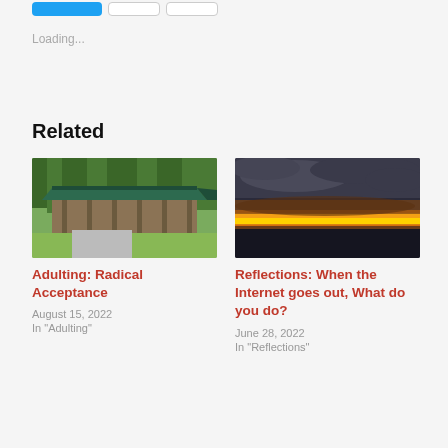Loading...
Related
[Figure (photo): A pavilion or lodge building with a green roof surrounded by trees and green grass]
Adulting: Radical Acceptance
August 15, 2022
In "Adulting"
[Figure (photo): A dramatic sunset with orange and yellow sky beneath dark clouds, silhouetted landscape below]
Reflections: When the Internet goes out, What do you do?
June 28, 2022
In "Reflections"